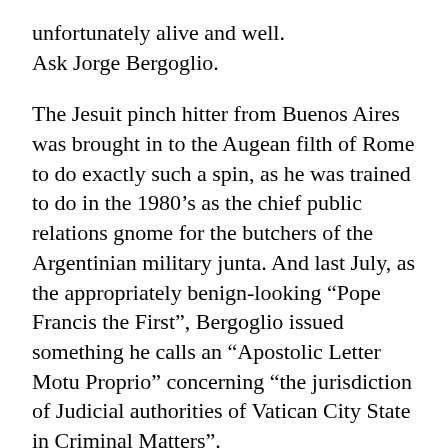unfortunately alive and well. Ask Jorge Bergoglio.
The Jesuit pinch hitter from Buenos Aires was brought in to the Augean filth of Rome to do exactly such a spin, as he was trained to do in the 1980’s as the chief public relations gnome for the butchers of the Argentinian military junta. And last July, as the appropriately benign-looking “Pope Francis the First”, Bergoglio issued something he calls an “Apostolic Letter Motu Proprio” concerning “the jurisdiction of Judicial authorities of Vatican City State in Criminal Matters”.
Wow. Sounds impressive, eh? From the sounds of that, you’d almost think that the Roman Catholic Church is a legitimate government, and has some kind of legal jurisdiction when it comes to